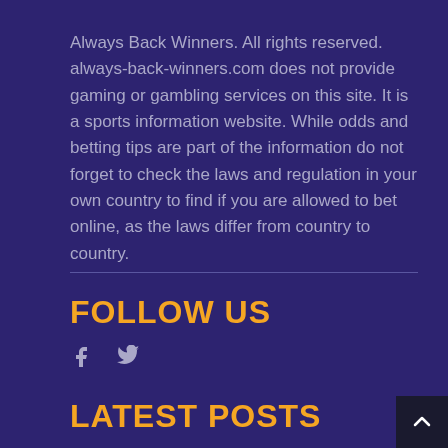Always Back Winners. All rights reserved. always-back-winners.com does not provide gaming or gambling services on this site. It is a sports information website. While odds and betting tips are part of the information do not forget to check the laws and regulation in your own country to find if you are allowed to bet online, as the laws differ from country to country.
FOLLOW US
[Figure (illustration): Facebook and Twitter social media icons in grey/purple color]
LATEST POSTS